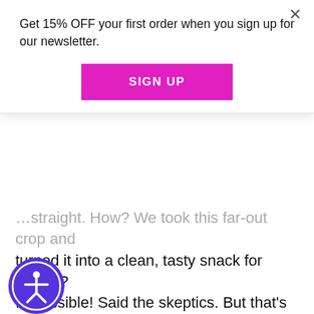Get 15% OFF your first order when you sign up for our newsletter.
SIGN UP
…straight. How? We took this far-out crop and turned it into a clean, tasty snack for kiddos? Impossible! Said the skeptics. But that's exactly what we did. Enjoy the groove, friends!
Up The Beet™
Okay, we get it. Beets aren't for everyone…EXCEPT when it comes to Groovies! In fact, we're going out on a limb and saying that this will be your favorite flavor. Yup, we said it. This tubular snack made